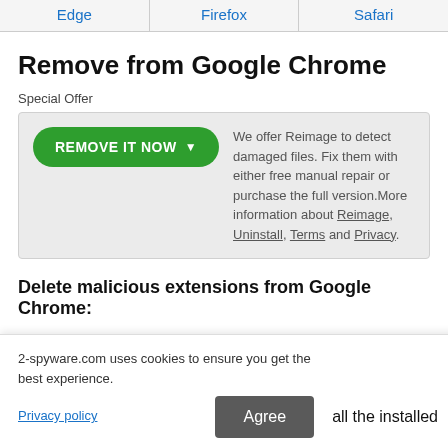| Edge | Firefox | Safari |
| --- | --- | --- |
Remove from Google Chrome
Special Offer
We offer Reimage to detect damaged files. Fix them with either free manual repair or purchase the full version.More information about Reimage, Uninstall, Terms and Privacy.
Delete malicious extensions from Google Chrome:
1. Open Google Chrome, click on the Menu (three vertical dots at the top right corner) and select More tools >
2-spyware.com uses cookies to ensure you get the best experience.
Privacy policy
Agree
all the installed